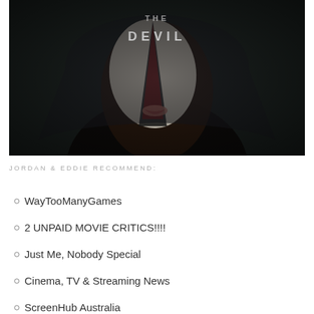[Figure (photo): A dark atmospheric movie poster image showing a person wearing a white mask or face covering, with text 'THE DEVIL' visible in white lettering at the top]
JORDAN & EDDIE RECOMMEND:
WayTooManyGames
2 UNPAID MOVIE CRITICS!!!!
Just Me, Nobody Special
Cinema, TV & Streaming News
ScreenHub Australia
Dan's Reviews